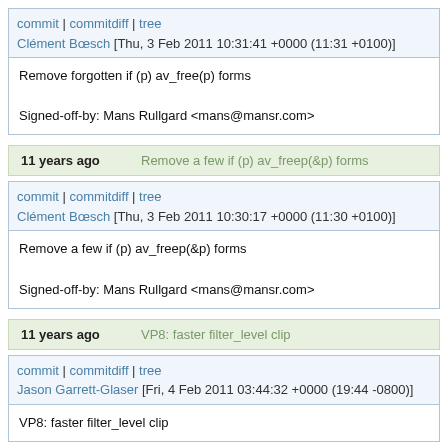commit | commitdiff | tree
Clément Bœsch [Thu, 3 Feb 2011 10:31:41 +0000 (11:31 +0100)]
Remove forgotten if (p) av_free(p) forms

Signed-off-by: Mans Rullgard <mans@mansr.com>
11 years ago    Remove a few if (p) av_freep(&p) forms
commit | commitdiff | tree
Clément Bœsch [Thu, 3 Feb 2011 10:30:17 +0000 (11:30 +0100)]
Remove a few if (p) av_freep(&p) forms

Signed-off-by: Mans Rullgard <mans@mansr.com>
11 years ago    VP8: faster filter_level clip
commit | commitdiff | tree
Jason Garrett-Glaser [Fri, 4 Feb 2011 03:44:32 +0000 (19:44 -0800)]
VP8: faster filter_level clip